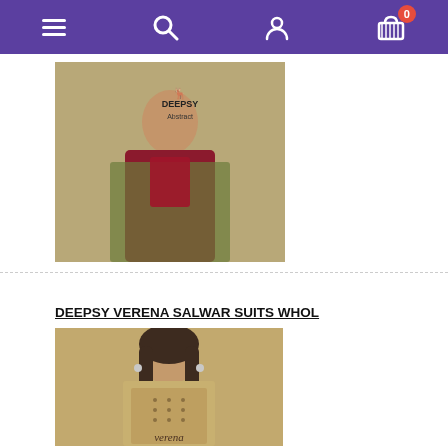Navigation bar with menu, search, account, and cart icons
[Figure (photo): Product photo of a woman in a green/olive salwar suit with red embroidered top, Deepsy Abstract brand label visible]
DEEPSY VERENA SALWAR SUITS WHOL
[Figure (photo): Product photo of a woman in a beige/tan embroidered salwar suit, labeled 'verena' at the bottom]